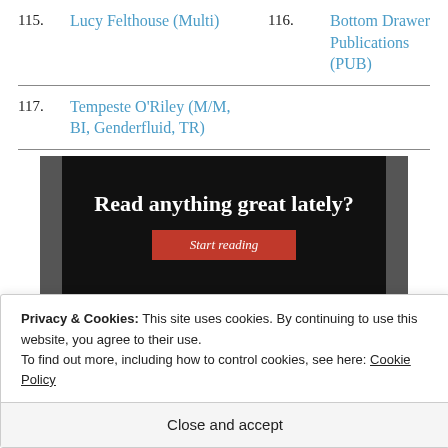115. Lucy Felthouse (Multi)
116. Bottom Drawer Publications (PUB)
117. Tempeste O'Riley (M/M, BI, Genderfluid, TR)
[Figure (screenshot): Dark banner advertisement with text 'Read anything great lately?' and a red 'Start reading' button]
Privacy & Cookies: This site uses cookies. By continuing to use this website, you agree to their use.
To find out more, including how to control cookies, see here: Cookie Policy
Close and accept